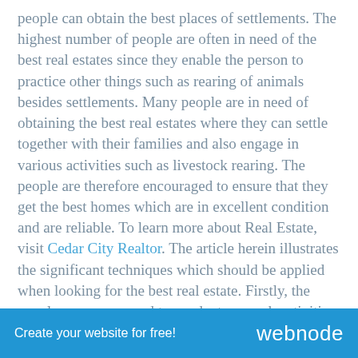people can obtain the best places of settlements. The highest number of people are often in need of the best real estates since they enable the person to practice other things such as rearing of animals besides settlements. Many people are in need of obtaining the best real estates where they can settle together with their families and also engage in various activities such as livestock rearing. The people are therefore encouraged to ensure that they get the best homes which are in excellent condition and are reliable. To learn more about Real Estate, visit Cedar City Realtor. The article herein illustrates the significant techniques which should be applied when looking for the best real estate. Firstly, the people are encouraged to conduct research activities on the best real estate which are being sold. The
Create your website for free!    webnode